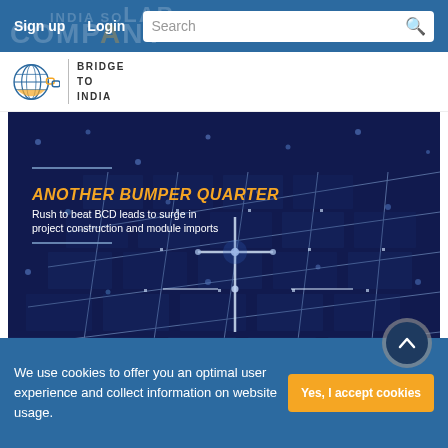Sign up   Login   Search
[Figure (logo): Bridge to India logo with globe icon]
[Figure (photo): Close-up photo of solar panel cells with blue tones and grid overlay. Text overlay reads: ANOTHER BUMPER QUARTER - Rush to beat BCD leads to surge in project construction and module imports]
We use cookies to offer you an optimal user experience and collect information on website usage.
Yes, I accept cookies